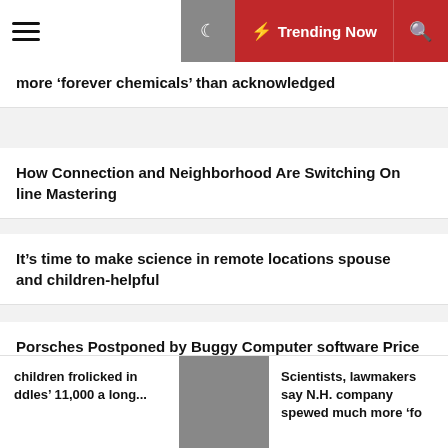Trending Now
more ‘forever chemicals’ than acknowledged
How Connection and Neighborhood Are Switching Online Mastering
It’s time to make science in remote locations spouse and children-helpful
Porsches Postponed by Buggy Computer software Price VW’s CEO His Job
Categories
children frolicked in ddles’ 11,000 a long...
Scientists, lawmakers say N.H. company spewed much more ‘fo